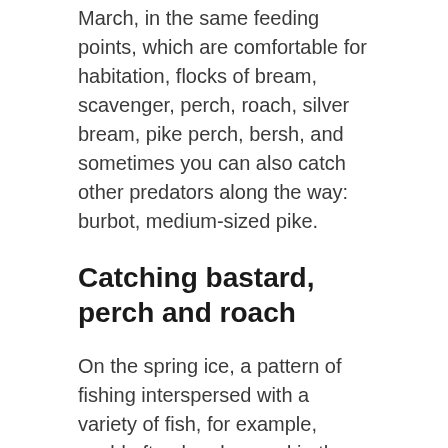March, in the same feeding points, which are comfortable for habitation, flocks of bream, scavenger, perch, roach, silver bream, pike perch, bersh, and sometimes you can also catch other predators along the way: burbot, medium-sized pike.
Catching bastard, perch and roach
On the spring ice, a pattern of fishing interspersed with a variety of fish, for example, could often be observed in the long bay of the Yauzsky reservoir (approach from the side of the village of Staroe Ustinovo), where there are many well-known catch zones in the area of the so-called First, Second or Third snags.